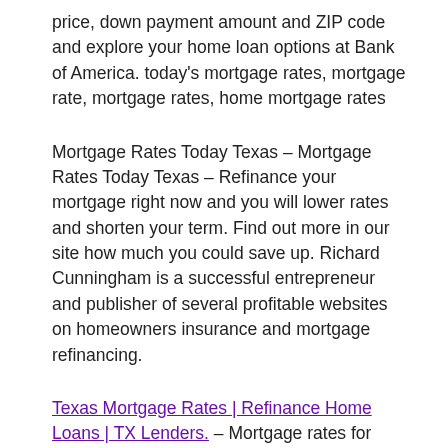price, down payment amount and ZIP code and explore your home loan options at Bank of America. today's mortgage rates, mortgage rate, mortgage rates, home mortgage rates
Mortgage Rates Today Texas – Mortgage Rates Today Texas – Refinance your mortgage right now and you will lower rates and shorten your term. Find out more in our site how much you could save up. Richard Cunningham is a successful entrepreneur and publisher of several profitable websites on homeowners insurance and mortgage refinancing.
Texas Mortgage Rates | Refinance Home Loans | TX Lenders. – Mortgage rates for Texas on Lender411 for 30-year fixed-rate mortgages are at 4.30%. That dropped from 4.30% to 4.30%. The 15-year fixed rates are now at 3.75%.